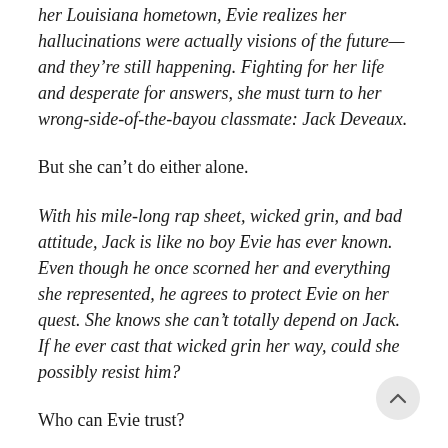her Louisiana hometown, Evie realizes her hallucinations were actually visions of the future—and they're still happening. Fighting for her life and desperate for answers, she must turn to her wrong-side-of-the-bayou classmate: Jack Deveaux.
But she can't do either alone.
With his mile-long rap sheet, wicked grin, and bad attitude, Jack is like no boy Evie has ever known. Even though he once scorned her and everything she represented, he agrees to protect Evie on her quest. She knows she can't totally depend on Jack. If he ever cast that wicked grin her way, could she possibly resist him?
Who can Evie trust?